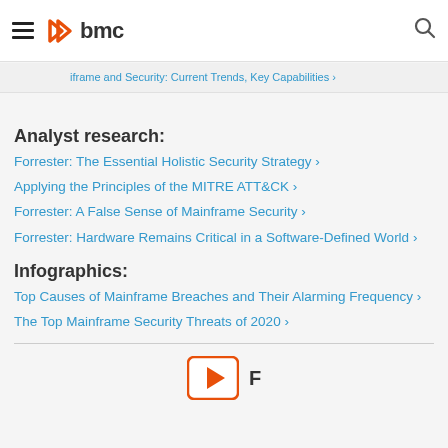BMC logo navigation header
Mainframe and Security: Current Trends, Key Capabilities ›
Analyst research:
Forrester: The Essential Holistic Security Strategy ›
Applying the Principles of the MITRE ATT&CK ›
Forrester: A False Sense of Mainframe Security ›
Forrester: Hardware Remains Critical in a Software-Defined World ›
Infographics:
Top Causes of Mainframe Breaches and Their Alarming Frequency ›
The Top Mainframe Security Threats of 2020 ›
[Figure (other): Video play button icon with label text starting with 'F']